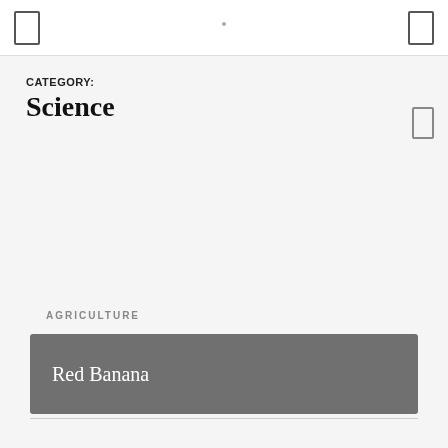CATEGORY:
Science
AGRICULTURE
Red Banana